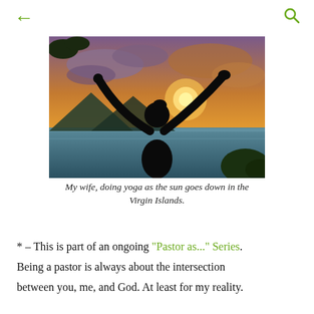← (back) | (search)
[Figure (photo): Silhouette of a woman with arms raised doing yoga on a beach at sunset in the Virgin Islands, with orange and purple sky and ocean in the background.]
My wife, doing yoga as the sun goes down in the Virgin Islands.
* – This is part of an ongoing "Pastor as..." Series. Being a pastor is always about the intersection between you, me, and God. At least for my reality.